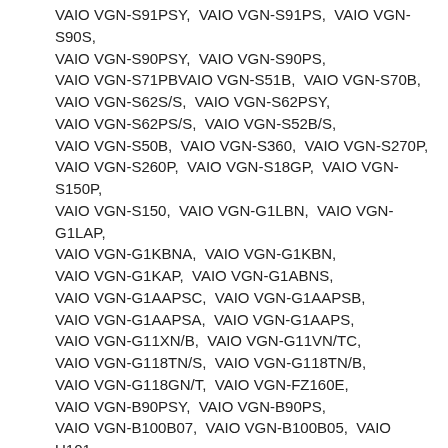VAIO VGN-S91PSY,  VAIO VGN-S91PS,  VAIO VGN-S90S,  VAIO VGN-S90PSY,  VAIO VGN-S90PS,  VAIO VGN-S71PBVAIO VGN-S51B,  VAIO VGN-S70B,  VAIO VGN-S62S/S,  VAIO VGN-S62PSY,  VAIO VGN-S62PS/S,  VAIO VGN-S52B/S,  VAIO VGN-S50B,  VAIO VGN-S360,  VAIO VGN-S270P,  VAIO VGN-S260P,  VAIO VGN-S18GP,  VAIO VGN-S150P,  VAIO VGN-S150,  VAIO VGN-G1LBN,  VAIO VGN-G1LAP,  VAIO VGN-G1KBNA,  VAIO VGN-G1KBN,  VAIO VGN-G1KAP,  VAIO VGN-G1ABNS,  VAIO VGN-G1AAPSC,  VAIO VGN-G1AAPSB,  VAIO VGN-G1AAPSA,  VAIO VGN-G1AAPS,  VAIO VGN-G11XN/B,  VAIO VGN-G11VN/TC,  VAIO VGN-G118TN/S,  VAIO VGN-G118TN/B,  VAIO VGN-G118GN/T,  VAIO VGN-FZ160E,  VAIO VGN-B90PSY,  VAIO VGN-B90PS,  VAIO VGN-B100B07,  VAIO VGN-B100B05,  VAIO U101,  VAIO TR2/B,  VAIO PCGA-Z1WA,  VAIO PCGA-V505DX,  VAIO PCGA-V505D,  VAIO PCGA-TR3AP3,  VAIO PCGA-TR3A,  VAIO PCGA-CC1 PictureBook,  VAIO PCG-Z1XGP,  VAIO PCG-Z1XE/B,  VAIO PCG-Z1X/P,  VAIO PCG-Z1WAP,  VAIO PCG-Z1WAMP3,  VAIO PCG-Z1WAMP2,  VAIO PCG-Z1WAMP1,